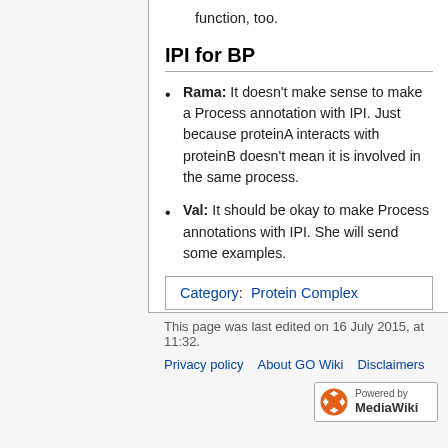function, too.
IPI for BP
Rama: It doesn't make sense to make a Process annotation with IPI. Just because proteinA interacts with proteinB doesn't mean it is involved in the same process.
Val: It should be okay to make Process annotations with IPI. She will send some examples.
Category:  Protein Complex
This page was last edited on 16 July 2015, at 11:32.
Privacy policy   About GO Wiki   Disclaimers